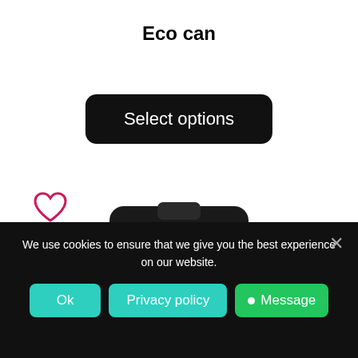Eco can
Select options
[Figure (photo): A black insulated eco can / travel mug with a lid, showing the top portion of the product on a white background.]
We use cookies to ensure that we give you the best experience on our website.
Ok
Privacy policy
Message